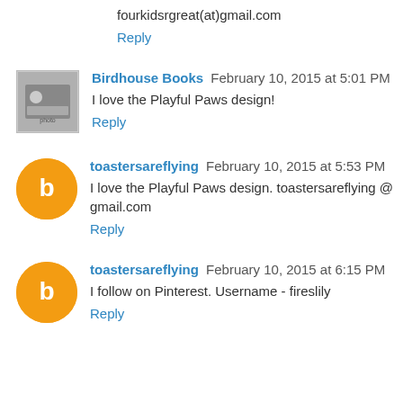fourkidsrgreat(at)gmail.com
Reply
Birdhouse Books  February 10, 2015 at 5:01 PM
I love the Playful Paws design!
Reply
toastersareflying  February 10, 2015 at 5:53 PM
I love the Playful Paws design. toastersareflying @ gmail.com
Reply
toastersareflying  February 10, 2015 at 6:15 PM
I follow on Pinterest. Username - fireslily
Reply